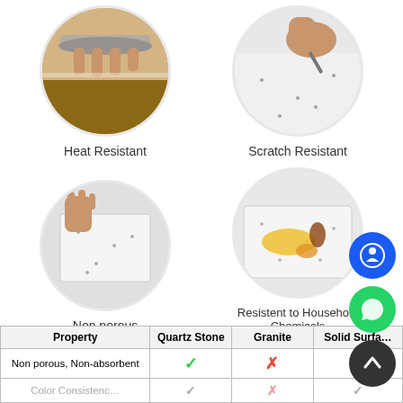[Figure (photo): Circular photo of hands demonstrating heat resistance on a surface]
Heat Resistant
[Figure (photo): Circular photo of a hand scratching a speckled stone surface with a tool]
Scratch Resistant
[Figure (photo): Circular photo of a hand holding a non-porous speckled stone slab]
Non porous
[Figure (photo): Circular photo of a speckled stone surface with yellow and brown chemical spills on it]
Resistent to Household Chemicals
| Property | Quartz Stone | Granite | Solid Surface |
| --- | --- | --- | --- |
| Non porous, Non-absorbent | ✓ | ✗ | ✓ |
| Color Consistency | ✓ | ✗ | ✓ |